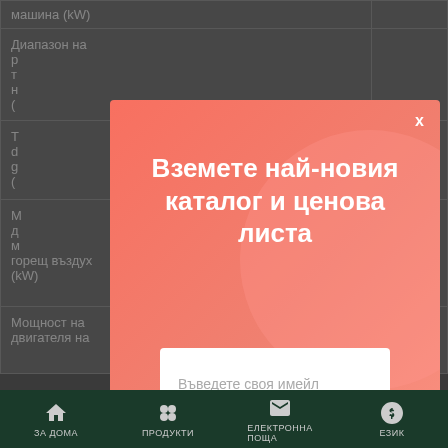| машина (kW) |
| Диапазон на р т н ( |
| Т d g ( |
| М д м горещ въздух (kW) |
| Мощност на двигателя на |
[Figure (screenshot): Modal popup with salmon/coral background with title 'Вземете най-новия каталог и ценова листа', email input field placeholder 'Въведете своя имейл', and black button 'Вземи го сега']
ЗА ДОМА   ПРОДУКТИ   ЕЛЕКТРОННА ПОЩА   ЕЗИК